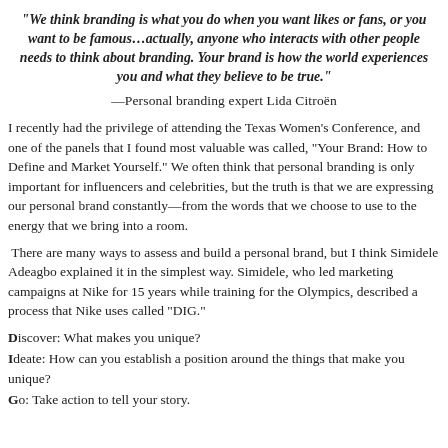“We think branding is what you do when you want likes or fans, or you want to be famous…actually, anyone who interacts with other people needs to think about branding. Your brand is how the world experiences you and what they believe to be true.”
—Personal branding expert Lida Citroën
I recently had the privilege of attending the Texas Women’s Conference, and one of the panels that I found most valuable was called, “Your Brand: How to Define and Market Yourself.” We often think that personal branding is only important for influencers and celebrities, but the truth is that we are expressing our personal brand constantly—from the words that we choose to use to the energy that we bring into a room.
There are many ways to assess and build a personal brand, but I think Simidele Adeagbo explained it in the simplest way. Simidele, who led marketing campaigns at Nike for 15 years while training for the Olympics, described a process that Nike uses called “DIG.”
Discover: What makes you unique?
Ideate: How can you establish a position around the things that make you unique?
Go: Take action to tell your story.